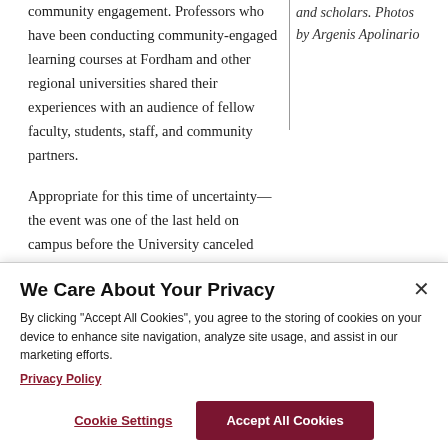community engagement. Professors who have been conducting community-engaged learning courses at Fordham and other regional universities shared their experiences with an audience of fellow faculty, students, staff, and community partners.
and scholars. Photos by Argenis Apolinario
Appropriate for this time of uncertainty—the event was one of the last held on campus before the University canceled events due to the new coronavirus—the day's keynote lecture focused
We Care About Your Privacy
By clicking "Accept All Cookies", you agree to the storing of cookies on your device to enhance site navigation, analyze site usage, and assist in our marketing efforts.
Privacy Policy
Cookie Settings
Accept All Cookies